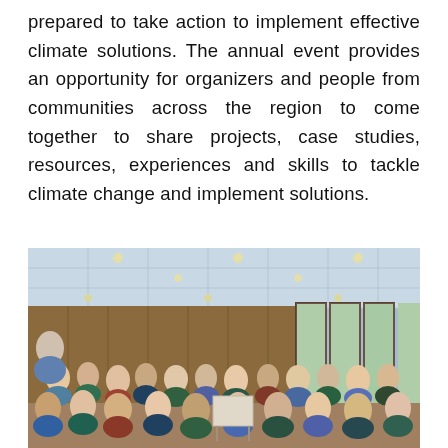prepared to take action to implement effective climate solutions. The annual event provides an opportunity for organizers and people from communities across the region to come together to share projects, case studies, resources, experiences and skills to tackle climate change and implement solutions.
[Figure (photo): A conference room scene with many attendees seated and listening to a presenter on the left. The room has wood-paneled walls and large windows on the right side letting in natural light. The ceiling has recessed lighting panels.]